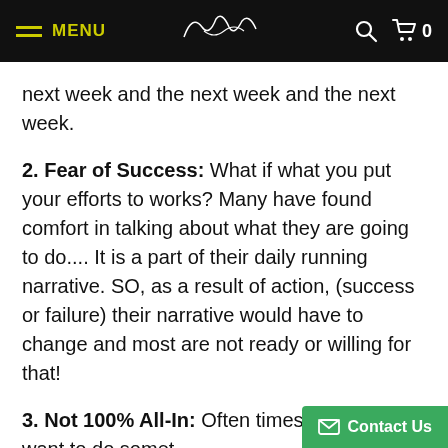MENU | [Logo: DC signature] | Search | Cart 0
next week and the next week and the next week.
2. Fear of Success: What if what you put your efforts to works? Many have found comfort in talking about what they are going to do.... It is a part of their daily running narrative. SO, as a result of action, (success or failure) their narrative would have to change and most are not ready or willing for that!
3. Not 100% All-In: Often times we think we want to do somet[cut off]